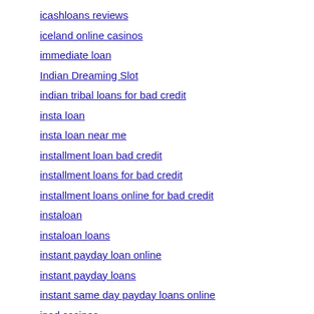icashloans reviews
iceland online casinos
immediate loan
Indian Dreaming Slot
indian tribal loans for bad credit
insta loan
insta loan near me
installment loan bad credit
installment loans for bad credit
installment loans online for bad credit
instaloan
instaloan loans
instant payday loan online
instant payday loans
instant same day payday loans online
ipad casinos
iphone casinos
is big valley financial loans legit
jackpot city